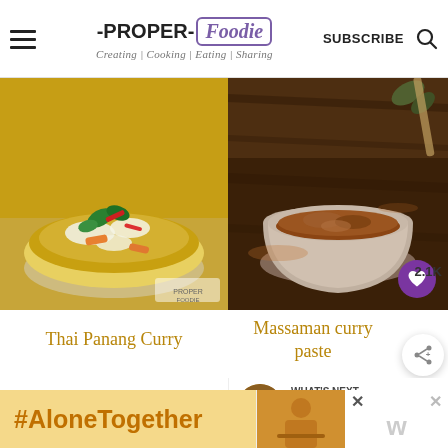-PROPER- Foodie | Creating | Cooking | Eating | Sharing | SUBSCRIBE
[Figure (photo): Thai Panang Curry in a bowl with coconut cream, basil leaves, and chili peppers]
[Figure (photo): Massaman curry paste in a rustic ceramic bowl on dark wooden surface]
Thai Panang Curry
Massaman curry paste
2.1K
WHAT'S NEXT → Thai Yellow Curry Paste
#AloneTogether